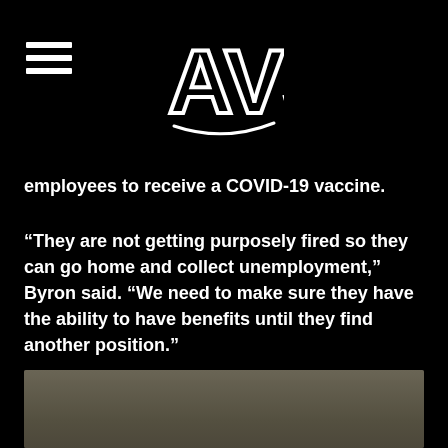AVS logo and navigation menu
employees to receive a COVID-19 vaccine.
“They are not getting purposely fired so they can go home and collect unemployment,” Byron said. “We need to make sure they have the ability to have benefits until they find another position.”
[Figure (photo): Portrait photo of a person with blonde hair against a dark background, partially visible from bottom of frame]